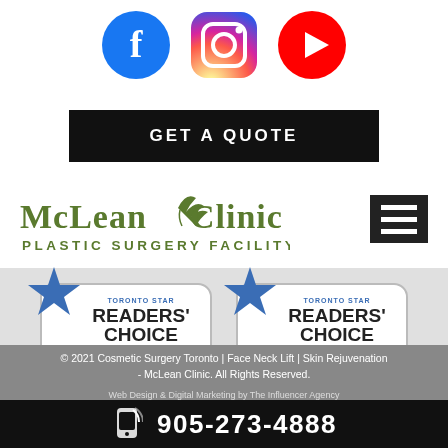[Figure (logo): Social media icons: Facebook (blue circle with f), Instagram (gradient camera icon), YouTube (red circle with play button)]
GET A QUOTE
[Figure (logo): McLean Clinic - Plastic Surgery Facility logo with olive/green stylized text and bird/leaf graphic]
[Figure (illustration): Hamburger menu icon (three white horizontal lines on black background)]
[Figure (logo): Toronto Star Readers' Choice 2019 Platinum Winner badge with blue star]
[Figure (logo): Toronto Star Readers' Choice 2020 Diamond Winner badge with blue star]
© 2021 Cosmetic Surgery Toronto | Face Neck Lift | Skin Rejuvenation - McLean Clinic. All Rights Reserved.
Web Design & Digital Marketing by The Influencer Agency
905-273-4888